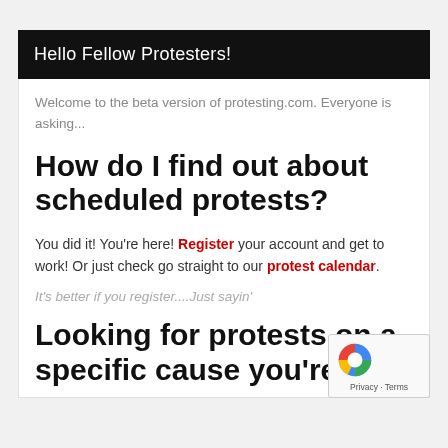Hello Fellow Protesters!
Welcome to the beta version of protesting.com. Everyone is asking...
How do I find out about scheduled protests?
You did it! You're here! Register your account and get to work! Or just check go straight to our protest calendar.
It's better if you register....Just sayin'
Looking for protests on a specific cause you're